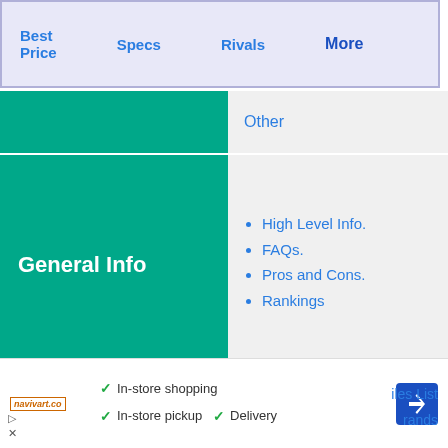Best Price   Specs   Rivals   More
Other
General Info
High Level Info.
FAQs.
Pros and Cons.
Rankings
Other Options
Similar Mobiles
Trending Mobiles
Samsung Mobiles
Reviews
Reviews - Videos.
Reviews - Pictures.
General Reviews.
Leave your Review.
In-store shopping  In-store pickup  Delivery
iles List
rands